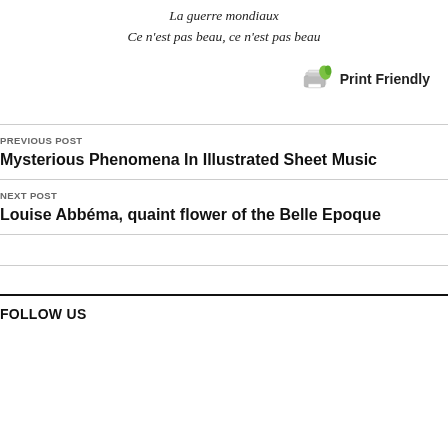La guerre mondiaux
Ce n'est pas beau, ce n'est pas beau
[Figure (illustration): Print Friendly button icon with printer and green leaf]
Print Friendly
PREVIOUS POST
Mysterious Phenomena In Illustrated Sheet Music
NEXT POST
Louise Abbéma, quaint flower of the Belle Epoque
FOLLOW US